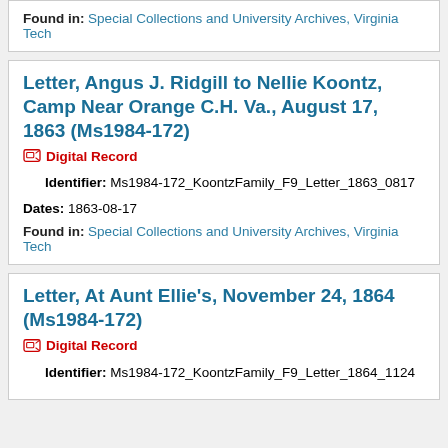Found in: Special Collections and University Archives, Virginia Tech
Letter, Angus J. Ridgill to Nellie Koontz, Camp Near Orange C.H. Va., August 17, 1863 (Ms1984-172)
Digital Record
Identifier: Ms1984-172_KoontzFamily_F9_Letter_1863_0817
Dates: 1863-08-17
Found in: Special Collections and University Archives, Virginia Tech
Letter, At Aunt Ellie's, November 24, 1864 (Ms1984-172)
Digital Record
Identifier: Ms1984-172_KoontzFamily_F9_Letter_1864_1124